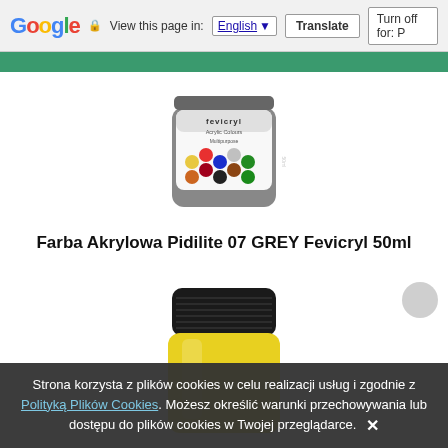Google  View this page in: English  Translate  Turn off for: P
[Figure (photo): A small cylindrical jar of Fevicryl Acrylic Colours Multipurpose paint in grey color, showing the label with colorful paint dots.]
Farba Akrylowa Pidilite 07 GREY Fevicryl 50ml
[Figure (photo): A small cylindrical jar of yellow acrylic paint with a black screw cap, partially visible.]
Strona korzysta z plików cookies w celu realizacji usług i zgodnie z Polityką Plików Cookies. Możesz określić warunki przechowywania lub dostępu do plików cookies w Twojej przeglądarce. ✕